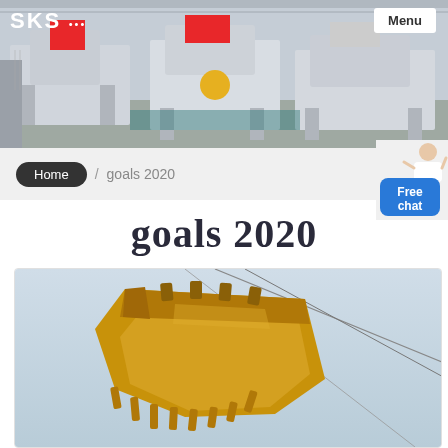[Figure (photo): Industrial factory floor with heavy crushing/mining machinery in grey and white, SKS logo top-left, Menu button top-right]
SKS... Menu
Home / goals 2020
[Figure (photo): Free chat widget with avatar of woman in white and blue button]
goals 2020
[Figure (photo): Close-up photo of a yellow/gold excavator bucket attachment against a light blue sky with cables visible]